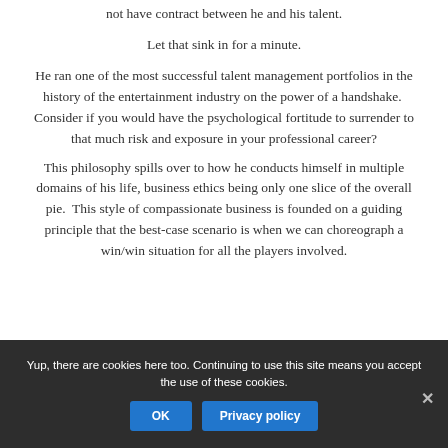not have contract between he and his talent.
Let that sink in for a minute.
He ran one of the most successful talent management portfolios in the history of the entertainment industry on the power of a handshake.  Consider if you would have the psychological fortitude to surrender to that much risk and exposure in your professional career?
This philosophy spills over to how he conducts himself in multiple domains of his life, business ethics being only one slice of the overall pie.  This style of compassionate business is founded on a guiding principle that the best-case scenario is when we can choreograph a win/win situation for all the players involved.
Yup, there are cookies here too. Continuing to use this site means you accept the use of these cookies.